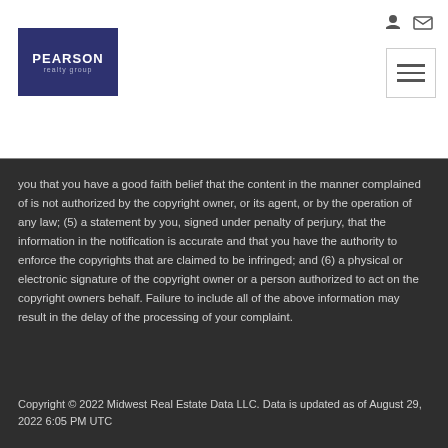[Figure (logo): Pearson Realty Group logo - white text on dark blue/navy background]
you that you have a good faith belief that the content in the manner complained of is not authorized by the copyright owner, or its agent, or by the operation of any law; (5) a statement by you, signed under penalty of perjury, that the information in the notification is accurate and that you have the authority to enforce the copyrights that are claimed to be infringed; and (6) a physical or electronic signature of the copyright owner or a person authorized to act on the copyright owners behalf. Failure to include all of the above information may result in the delay of the processing of your complaint.
Copyright © 2022 Midwest Real Estate Data LLC. Data is updated as of August 29, 2022 6:05 PM UTC